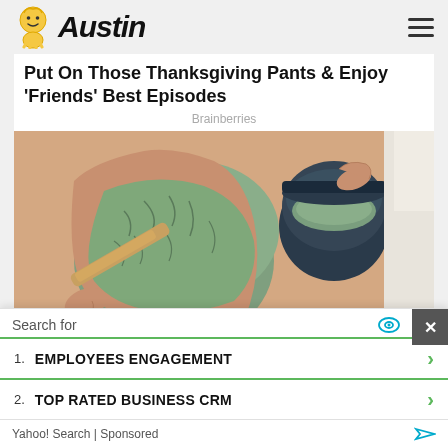Austin
Put On Those Thanksgiving Pants & Enjoy 'Friends' Best Episodes
Brainberries
[Figure (photo): Person applying green clay/mud mask to leg using a wooden spatula, with a dark jar in background]
Natural Ways To Get Rid Of Strawberry Legs
Search for
1. EMPLOYEES ENGAGEMENT
2. TOP RATED BUSINESS CRM
Yahoo! Search | Sponsored